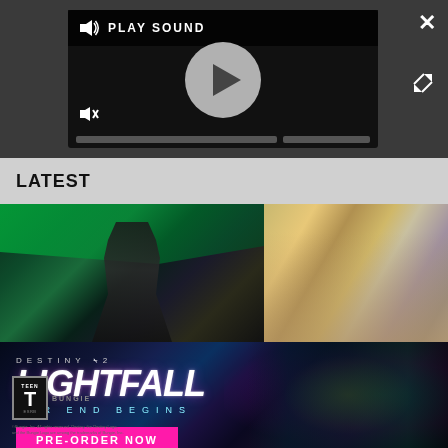[Figure (screenshot): Video/media player with play button, sound controls, play sound label, close button, expand button, and progress bar on dark background]
LATEST
[Figure (screenshot): Grid of game thumbnails: Assassin's Creed (hooded figure with green aurora), Civilization-style game (characters celebrating), and Destiny 2 Lightfall promotional banner with PRE-ORDER NOW button]